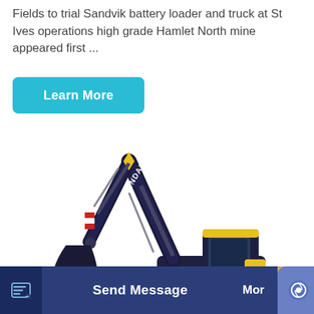Fields to trial Sandvik battery loader and truck at St Ives operations high grade Hamlet North mine appeared first ...
Learn More
[Figure (photo): Hyundai crawler excavator with bucket attachment, dark navy blue and yellow color scheme, shown on white background]
Send Message
Mor
Inquiry Online